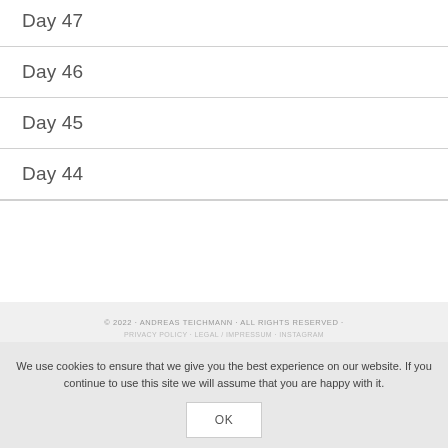Day 47
Day 46
Day 45
Day 44
© 2022 · ANDREAS TEICHMANN · ALL RIGHTS RESERVED · PRIVACY POLICY · LEGAL / IMPRESSUM · INSTAGRAM
We use cookies to ensure that we give you the best experience on our website. If you continue to use this site we will assume that you are happy with it.
OK